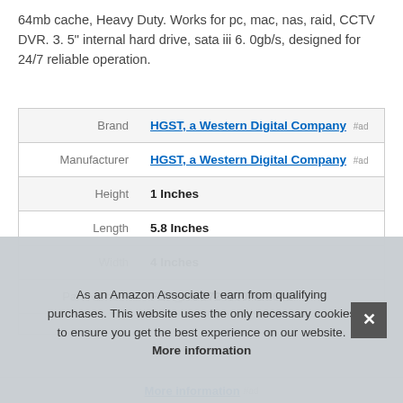64mb cache, Heavy Duty. Works for pc, mac, nas, raid, CCTV DVR. 3. 5" internal hard drive, sata iii 6. 0gb/s, designed for 24/7 reliable operation.
|  |  |
| --- | --- |
| Brand | HGST, a Western Digital Company #ad |
| Manufacturer | HGST, a Western Digital Company #ad |
| Height | 1 Inches |
| Length | 5.8 Inches |
| Width | 4 Inches |
| Part Number | FBA_HUS724030ALE641 |
As an Amazon Associate I earn from qualifying purchases. This website uses the only necessary cookies to ensure you get the best experience on our website. More information